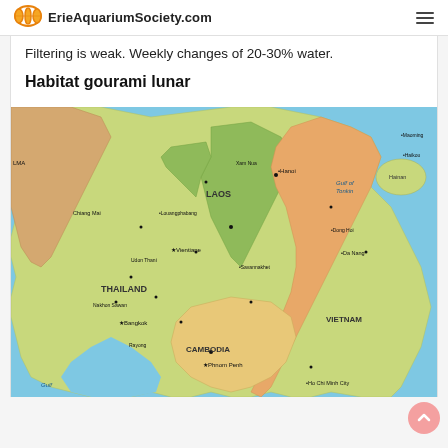ErieAquariumSociety.com
Filtering is weak. Weekly changes of 20-30% water.
Habitat gourami lunar
[Figure (map): Map of Southeast Asia showing Thailand, Laos, Vietnam, Cambodia and surrounding regions with cities, borders, and geographic features labeled.]